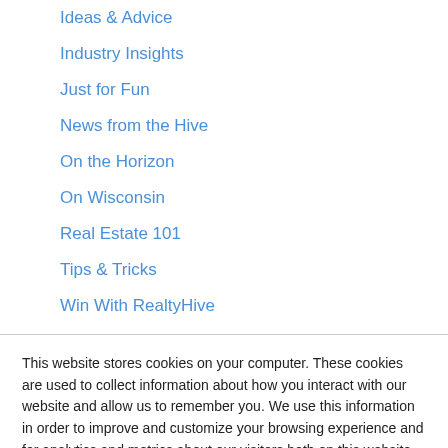Ideas & Advice
Industry Insights
Just for Fun
News from the Hive
On the Horizon
On Wisconsin
Real Estate 101
Tips & Tricks
Win With RealtyHive
This website stores cookies on your computer. These cookies are used to collect information about how you interact with our website and allow us to remember you. We use this information in order to improve and customize your browsing experience and for analytics and metrics about our visitors both on this website and other media. To find out more about the cookies we use, see our Privacy Policy.
Accept